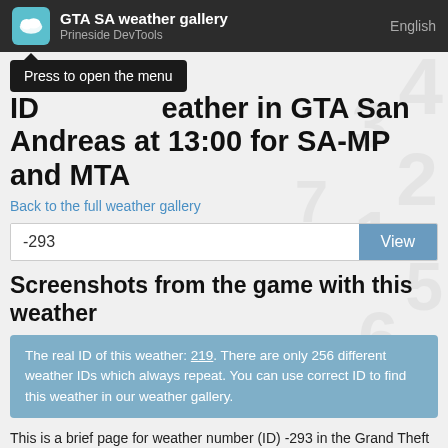GTA SA weather gallery | Prineside DevTools | English
Press to open the menu
ID -293 of weather in GTA San Andreas at 13:00 for SA-MP and MTA
Back to the full weather gallery
-293
Screenshots from the game with this weather
The real ID of this weather: 219. There are only 256 different weather IDs which always repeat. You can use correct ID to find this weather in our weather gallery.
This is a brief page for weather number (ID) -293 in the Grand Theft Auto: San Andreas game. You can see the screen shot of the game at 13:00